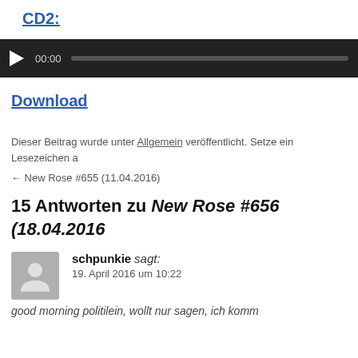CD2:
[Figure (other): Audio player with play button, time display 00:00, and progress bar on dark background]
Download
Dieser Beitrag wurde unter Allgemein veröffentlicht. Setze ein Lesezeichen a...
← New Rose #655 (11.04.2016)
15 Antworten zu New Rose #656 (18.04.2016...)
schpunkie sagt:
19. April 2016 um 10:22
good morning politilein, wollt nur sagen, ich komm...